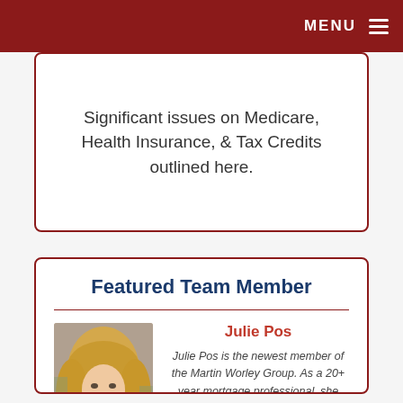MENU
Significant issues on Medicare, Health Insurance, & Tax Credits outlined here.
Featured Team Member
[Figure (photo): Headshot of Julie Pos, a woman with long blonde hair, smiling, outdoors]
Julie Pos
Julie Pos is the newest member of the Martin Worley Group. As a 20+ year mortgage professional, she brings practical experience within the financial sector and a passion for strong client relationships.